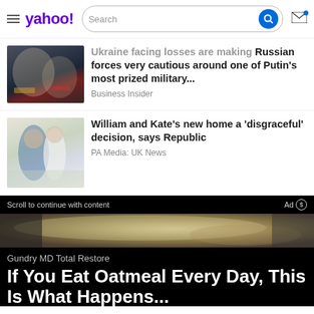yahoo! Search
Ukraine facing losses are making Russian forces very cautious around one of Putin's most prized military... — Business Insider
William and Kate's new home a 'disgraceful' decision, says Republic — PA Media: UK News
Scroll to continue with content
Ad
[Figure (photo): Oatmeal in a bowl, close-up photo used in advertisement]
Gundry MD Total Restore
If You Eat Oatmeal Every Day, This Is What Happens...